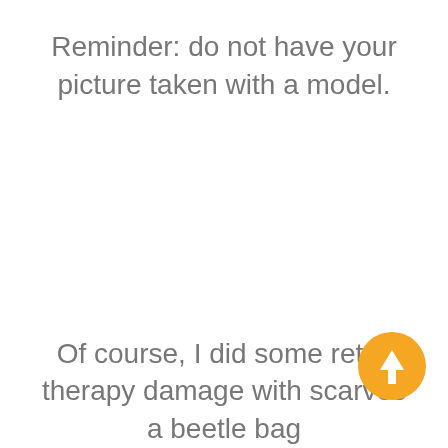Reminder: do not have your picture taken with a model.
Of course, I did some retail therapy damage with scarves a beetle bag
[Figure (illustration): Orange circular button with a white upward-pointing arrow, functioning as a scroll-to-top button]